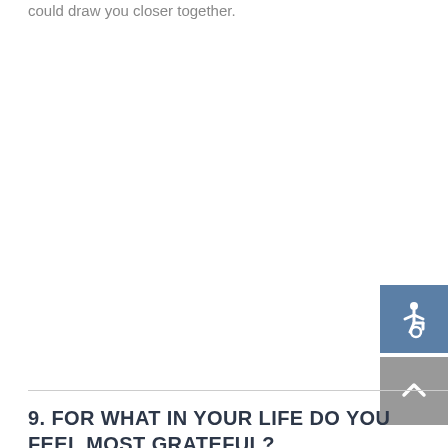could draw you closer together.
[Figure (illustration): Accessibility icon button (wheelchair symbol) on blue-grey background]
[Figure (illustration): Scroll-to-top button with upward chevron arrow on grey background]
9. FOR WHAT IN YOUR LIFE DO YOU FEEL MOST GRATEFUL?
The answer to this question will reveal how